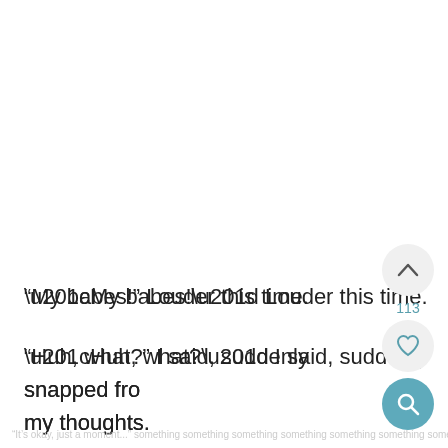“My babes!” Louder this time.
“Huh, what?” I said, suddenly snapped fro my thoughts.
faded partial text at bottom